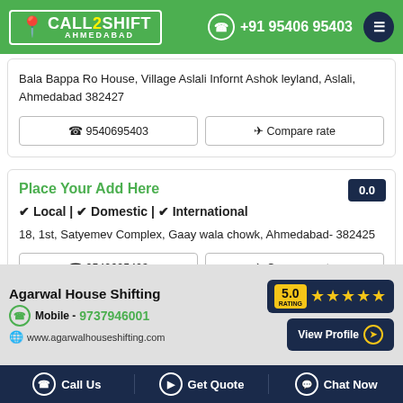CALL2SHIFT AHMEDABAD | +91 95406 95403
Bala Bappa Ro House, Village Aslali Infornt Ashok leyland, Aslali, Ahmedabad 382427
📞 9540695403   ✈ Compare rate
Place Your Add Here
0.0
✔ Local | ✔ Domestic | ✔ International
18, 1st, Satyemev Complex, Gaay wala chowk, Ahmedabad- 382425
📞 9540695403   ✈ Compare rate
[Figure (infographic): Agarwal House Shifting advertisement banner with 5.0 star rating, mobile number 9737946001, website www.agarwalhouseshifting.com and View Profile button]
Call Us | Get Quote | Chat Now